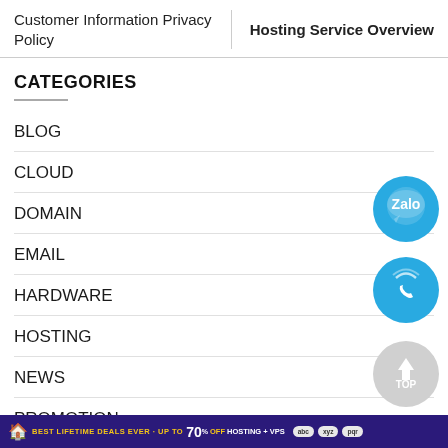Customer Information Privacy Policy | Hosting Service Overview
CATEGORIES
BLOG
CLOUD
DOMAIN
EMAIL
HARDWARE
HOSTING
NEWS
PROMOTION
[Figure (logo): Zalo chat button (blue circle with Zalo text and speech bubble icon)]
[Figure (logo): Phone call button (blue circle with phone/signal icon)]
[Figure (logo): Scroll-to-top button (grey circle with upward arrow and TOP text)]
BEST LIFETIME DEALS EVER · UP TO 70% OFF HOSTING + VPS